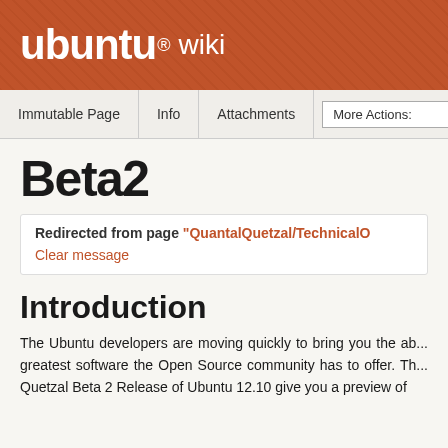ubuntu wiki
Immutable Page | Info | Attachments | More Actions:
Beta2
Redirected from page "QuantalQuetzal/TechnicalO... Clear message
Introduction
The Ubuntu developers are moving quickly to bring you the ab... greatest software the Open Source community has to offer. Th... Quetzal Beta 2 Release of Ubuntu 12.10 give you a preview of